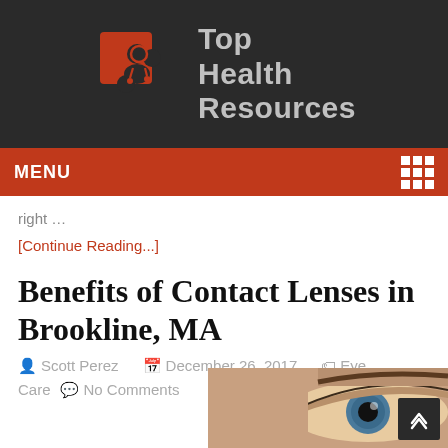[Figure (logo): Top Health Resources logo with orange puzzle piece and person icon, text reads Top Health Resources]
MENU
right …
[Continue Reading...]
Benefits of Contact Lenses in Brookline, MA
Scott Perez   December 26, 2017   Eye Care   No Comments
[Figure (photo): Close-up photo of a human eye, partially visible at bottom right of page]